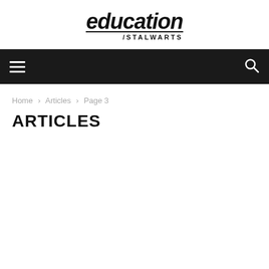[Figure (logo): Education Stalwarts logo with bold italic text 'education' and '/STALWARTS' underneath]
Navigation bar with hamburger menu and search icon
Home › Articles › Page 3
ARTICLES